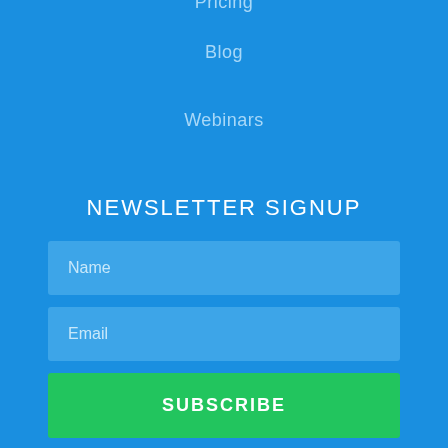Pricing
Blog
Webinars
NEWSLETTER SIGNUP
Name
Email
SUBSCRIBE